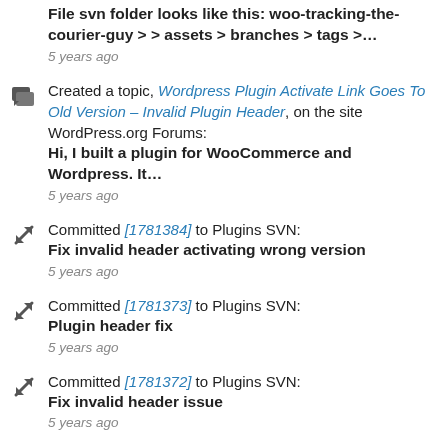File svn folder looks like this: woo-tracking-the-courier-guy > > assets > branches > tags >...
5 years ago
Created a topic, Wordpress Plugin Activate Link Goes To Old Version – Invalid Plugin Header, on the site WordPress.org Forums:
Hi, I built a plugin for WooCommerce and Wordpress. It...
5 years ago
Committed [1781384] to Plugins SVN:
Fix invalid header activating wrong version
5 years ago
Committed [1781373] to Plugins SVN:
Plugin header fix
5 years ago
Committed [1781372] to Plugins SVN:
Fix invalid header issue
5 years ago
Committed [1781368] to Plugins SVN:
Fixed invalid header issue after plugin activation. Styled